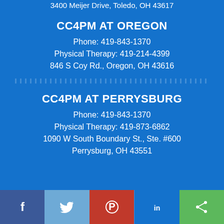3400 Meijer Drive, Toledo, OH 43617
CC4PM AT OREGON
Phone: 419-843-1370
Physical Therapy: 419-214-4399
846 S Coy Rd., Oregon, OH 43616
CC4PM AT PERRYSBURG
Phone: 419-843-1370
Physical Therapy: 419-873-6862
1090 W South Boundary St., Ste. #600
Perrysburg, OH 43551
[Figure (other): Social media share bar with Facebook, Twitter, Pinterest, LinkedIn, and share buttons]